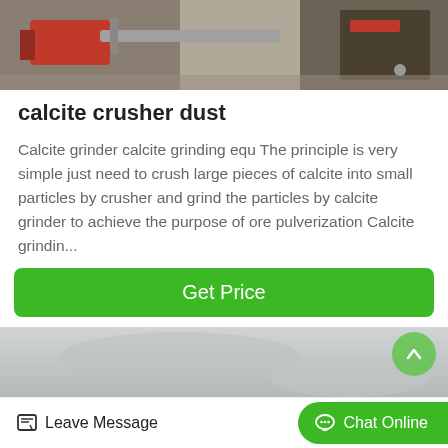[Figure (photo): Close-up photo of industrial crusher machinery parts with red and metallic components on concrete surface]
calcite crusher dust
Calcite grinder calcite grinding equ The principle is very simple just need to crush large pieces of calcite into small particles by crusher and grind the particles by calcite grinder to achieve the purpose of ore pulverization Calcite grindin...
[Figure (photo): Blurred gray background photo, likely showing industrial equipment or surface]
Leave Message
Chat Online